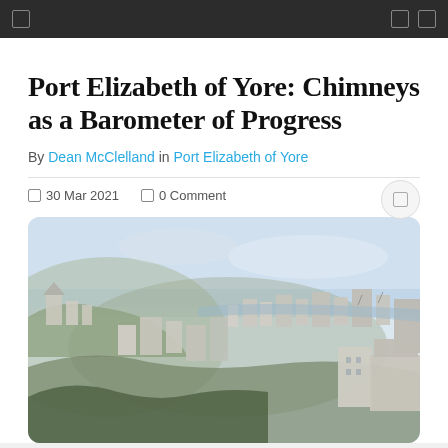navigation bar
Port Elizabeth of Yore: Chimneys as a Barometer of Progress
By Dean McClelland in Port Elizabeth of Yore
30 Mar 2021   0 Comment
[Figure (illustration): A watercolour-style historical panoramic illustration of Port Elizabeth showing hillside buildings, a harbour town with multiple structures, and water in the background under a pale sky.]